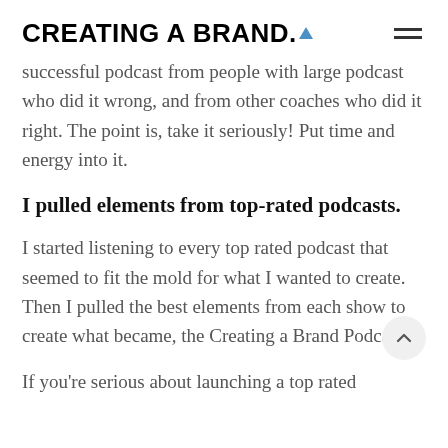CREATING A BRAND.
successful podcast from people with large podcast who did it wrong, and from other coaches who did it right. The point is, take it seriously! Put time and energy into it.
I pulled elements from top-rated podcasts.
I started listening to every top rated podcast that seemed to fit the mold for what I wanted to create. Then I pulled the best elements from each show to create what became, the Creating a Brand Podcast.
If you're serious about launching a top rated